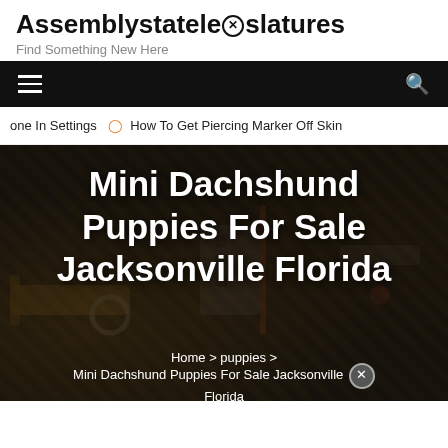Assemblystatelegislatures
Find Something New Here
[Figure (screenshot): Black navigation bar with hamburger menu icon on left and search icon on right]
one In Settings  ⊙ How To Get Piercing Marker Off Skin
Mini Dachshund Puppies For Sale Jacksonville Florida
Home > puppies > Mini Dachshund Puppies For Sale Jacksonville Florida